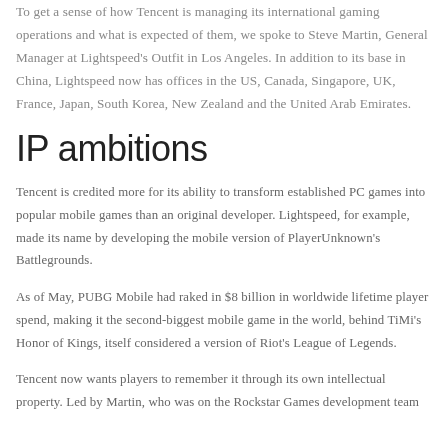To get a sense of how Tencent is managing its international gaming operations and what is expected of them, we spoke to Steve Martin, General Manager at Lightspeed's Outfit in Los Angeles. In addition to its base in China, Lightspeed now has offices in the US, Canada, Singapore, UK, France, Japan, South Korea, New Zealand and the United Arab Emirates.
IP ambitions
Tencent is credited more for its ability to transform established PC games into popular mobile games than an original developer. Lightspeed, for example, made its name by developing the mobile version of PlayerUnknown's Battlegrounds.
As of May, PUBG Mobile had raked in $8 billion in worldwide lifetime player spend, making it the second-biggest mobile game in the world, behind TiMi's Honor of Kings, itself considered a version of Riot's League of Legends.
Tencent now wants players to remember it through its own intellectual property. Led by Martin, who was on the Rockstar Games development team...